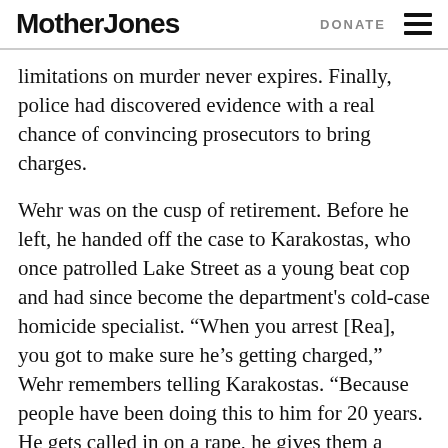Mother Jones | DONATE
limitations on murder never expires. Finally, police had discovered evidence with a real chance of convincing prosecutors to bring charges.
Wehr was on the cusp of retirement. Before he left, he handed off the case to Karakostas, who once patrolled Lake Street as a young beat cop and had since become the department's cold-case homicide specialist. “When you arrest [Rea], you got to make sure he’s getting charged,” Wehr remembers telling Karakostas. “Because people have been doing this to him for 20 years. He gets called in on a rape, he gives them a story, and they threaten him and yell at him they’re going to charge him, he’s going to prison. But